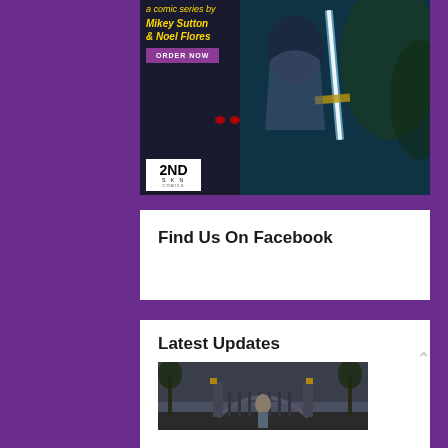[Figure (illustration): Comic book advertisement for 2nd Skin Comics featuring a woman holding a glowing sword, with text 'a comic series by Mikey Sutton & Noel Flores' and an ORDER NOW button, plus 2ND SKN COMICS logo]
Find Us On Facebook
Latest Updates
[Figure (photo): Photo of a person standing in front of ornate iron gates in a dark, gothic-styled outdoor setting]